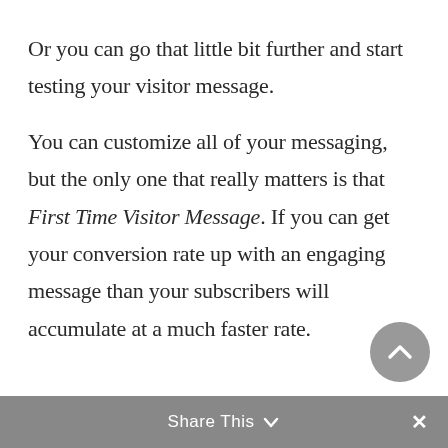Or you can go that little bit further and start testing your visitor message.
You can customize all of your messaging, but the only one that really matters is that First Time Visitor Message. If you can get your conversion rate up with an engaging message than your subscribers will accumulate at a much faster rate.
Share This ∨  ×